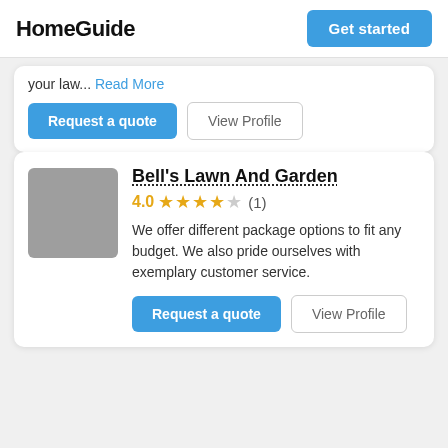HomeGuide | Get started
your law... Read More
Request a quote | View Profile
Bell's Lawn And Garden
4.0 ★★★★☆ (1)
We offer different package options to fit any budget. We also pride ourselves with exemplary customer service.
Request a quote | View Profile